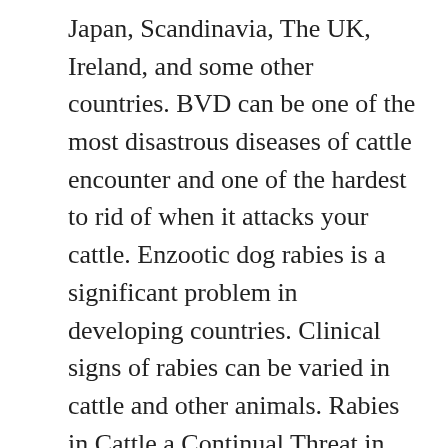Japan, Scandinavia, The UK, Ireland, and some other countries. BVD can be one of the most disastrous diseases of cattle encounter and one of the hardest to rid of when it attacks your cattle. Enzootic dog rabies is a significant problem in developing countries. Clinical signs of rabies can be varied in cattle and other animals. Rabies in Cattle a Continual Threat in Virginia Livestock Update, October 2006. Rabies is transmitted by saliva and can infect animals in close proximity. Rabies in cattle is a major economic and public health problem in South America, where vampire bat-transmitted rabies results in cyclic outbreaks (Alvarez-Peralta, 1997; Jacobo et al., 1998). Immunization should also be considered for anyone who has had contact with the horse in the recent past. Fear of water (hydrophobia) because of the difficulty in swallowing 12. A change in normal behavior and disorientation are typical